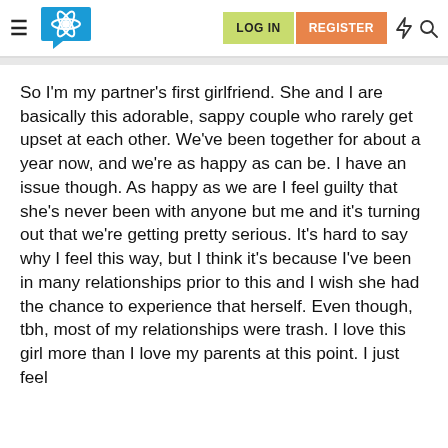LOG IN | REGISTER
So I'm my partner's first girlfriend. She and I are basically this adorable, sappy couple who rarely get upset at each other. We've been together for about a year now, and we're as happy as can be. I have an issue though. As happy as we are I feel guilty that she's never been with anyone but me and it's turning out that we're getting pretty serious. It's hard to say why I feel this way, but I think it's because I've been in many relationships prior to this and I wish she had the chance to experience that herself. Even though, tbh, most of my relationships were trash. I love this girl more than I love my parents at this point. I just feel